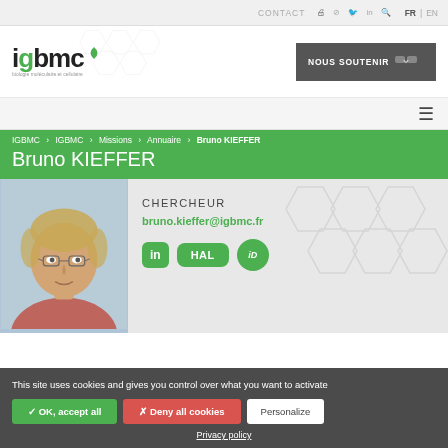CONTACT  FR | EN
[Figure (logo): IGBMC logo with green accent and subtitle text]
NOUS SOUTENIR
IGBMC > IGBMC > Missions > Annuaire > Bruno KIEFFER
Bruno KIEFFER
[Figure (photo): Photo of Bruno KIEFFER, a man with glasses and short blond hair]
CHERCHEUR
bruno.kieffer@igbmc.fr
This site uses cookies and gives you control over what you want to activate
✓ OK, accept all   ✗ Deny all cookies   Personalize
Privacy policy